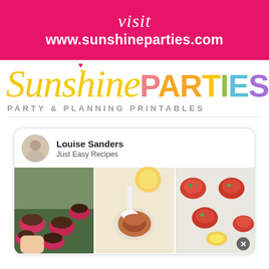visit
www.sunshineparties.com
[Figure (logo): SunshinePARTIES logo with cursive yellow 'Sunshine' and multicolored bold 'PARTIES' text, subtitle 'PARTY & PLANNING PRINTABLES']
[Figure (screenshot): Pinterest-style card showing user Louise Sanders / Just Easy Recipes with three food photos: chocolate muffins in silicone cups, food with cream sauce, and tomato-topped appetizers]